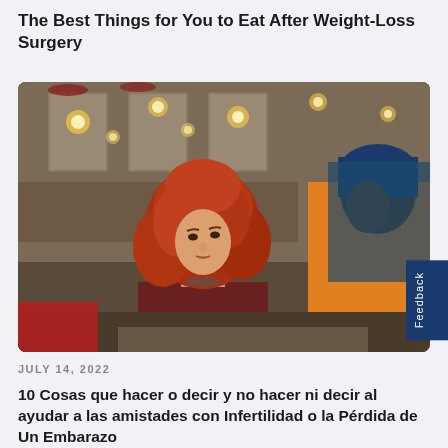The Best Things for You to Eat After Weight-Loss Surgery
[Figure (photo): Two women sitting in a cafe having a conversation. The woman in the foreground has long curly red hair and is wearing a dark red top, holding a white coffee cup. The woman to the right has dark skin and is wearing an orange/yellow top. Cafe interior visible in the background with warm lights.]
Feedback
JULY 14, 2022
10 Cosas que hacer o decir y no hacer ni decir al ayudar a las amistades con Infertilidad o la Pérdida de Un Embarazo